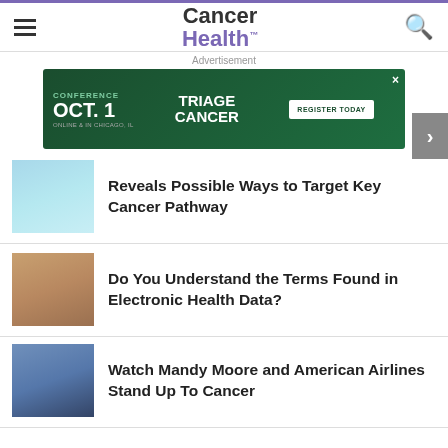Cancer Health
[Figure (infographic): Triage Cancer conference advertisement banner: CONFERENCE OCT. 1, ONLINE & IN CHICAGO, IL, TRIAGE CANCER, REGISTER TODAY]
Reveals Possible Ways to Target Key Cancer Pathway
Do You Understand the Terms Found in Electronic Health Data?
Watch Mandy Moore and American Airlines Stand Up To Cancer